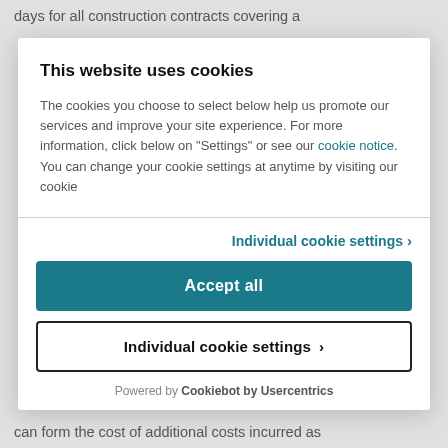days for all construction contracts covering a
This website uses cookies
The cookies you choose to select below help us promote our services and improve your site experience. For more information, click below on "Settings" or see our cookie notice. You can change your cookie settings at anytime by visiting our cookie
Individual cookie settings ›
Accept all
Individual cookie settings ›
Powered by Cookiebot by Usercentrics
can form the cost of additional costs incurred as